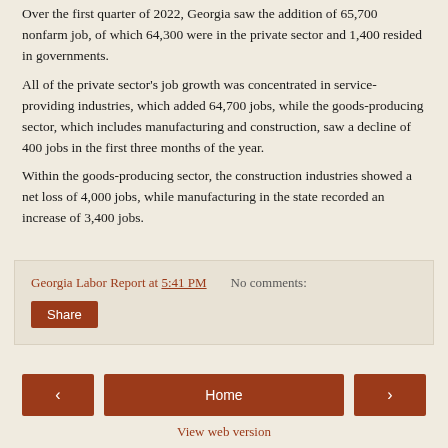Over the first quarter of 2022, Georgia saw the addition of 65,700 nonfarm job, of which 64,300 were in the private sector and 1,400 resided in governments.
All of the private sector's job growth was concentrated in service-providing industries, which added 64,700 jobs, while the goods-producing sector, which includes manufacturing and construction, saw a decline of 400 jobs in the first three months of the year.
Within the goods-producing sector, the construction industries showed a net loss of 4,000 jobs, while manufacturing in the state recorded an increase of 3,400 jobs.
Georgia Labor Report at 5:41 PM   No comments:
Share
Home
View web version